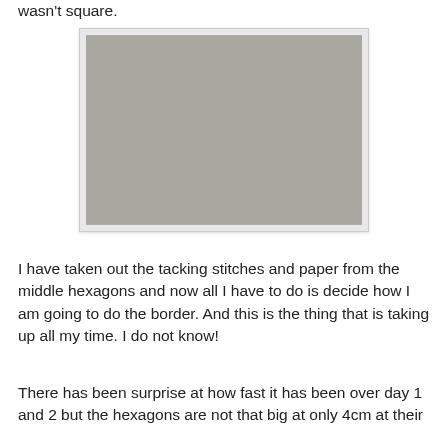wasn't square.
[Figure (photo): A hexagon quilt laid out flat, showing a pattern of pink/red, dark brown/black, and multicolored patterned fabric hexagons arranged in a grid on a light grey surface.]
I have taken out the tacking stitches and paper from the middle hexagons and now all I have to do is decide how I am going to do the border.  And this is the thing that is taking up all my time.  I do not know!
There has been surprise at how fast it has been over day 1 and 2 but the hexagons are not that big at only 4cm at their